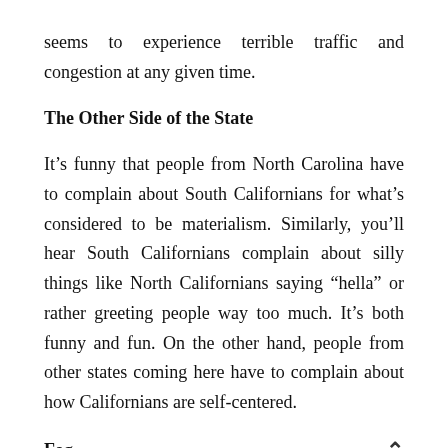seems to experience terrible traffic and congestion at any given time.
The Other Side of the State
It’s funny that people from North Carolina have to complain about South Californians for what’s considered to be materialism. Similarly, you’ll hear South Californians complain about silly things like North Californians saying “hella” or rather greeting people way too much. It’s both funny and fun. On the other hand, people from other states coming here have to complain about how Californians are self-centered.
Fog
If you’ve visited the Californian coast, you know that June gloom is one of the real things here. Well, that doesn’t